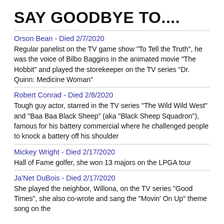SAY GOODBYE TO....
Orson Bean - Died 2/7/2020
Regular panelist on the TV game show "To Tell the Truth", he was the voice of Bilbo Baggins in the animated movie "The Hobbit" and played the storekeeper on the TV series "Dr. Quinn: Medicine Woman"
Robert Conrad - Died 2/8/2020
Tough guy actor, starred in the TV series "The Wild Wild West" and "Baa Baa Black Sheep" (aka "Black Sheep Squadron"), famous for his battery commercial where he challenged people to knock a battery off his shoulder
Mickey Wright - Died 2/17/2020
Hall of Fame golfer, she won 13 majors on the LPGA tour
Ja'Net DuBois - Died 2/17/2020
She played the neighbor, Willona, on the TV series "Good Times", she also co-wrote and sang the "Movin' On Up" theme song on the